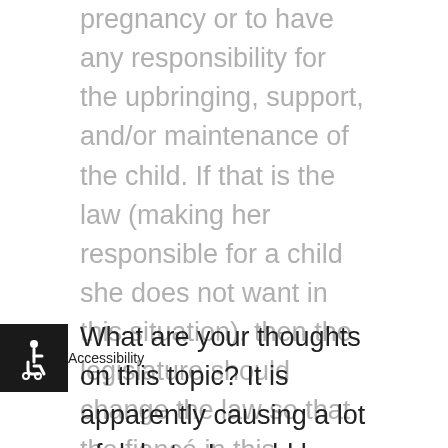pregnancy or to have any responsibility for the upbringing, support, and/or maintenance of the child. If that is the law (making her responsible for a child she does not want in this situation), then the legislature should change the law so that the fiancé in this situation would be fully responsible for the child.
What are your thoughts on this topic? It is apparently causing a lot of debate. I would be interested in how you view this issue, the appearance we did on Fox, and thoughts as to what you think the public policy should be on cases like this.